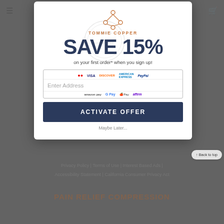TOMMIE COPPER
[Figure (screenshot): Tommie Copper website popup modal showing a 15% discount offer for signing up with email. Modal contains brand logo, 'SAVE 15%' headline, email input field with payment icons, and ACTIVATE OFFER button. Background shows dimmed website footer with Privacy Policy links and 'PAIN RELIEF COMPRESSION' text.]
SAVE 15%
on your first order* when you sign up!
Enter Address
ACTIVATE OFFER
Privacy Policy | Terms of Use | Interest Based Ads | Accessibility Statement | California Consumer Privacy Act
PAIN RELIEF COMPRESSION
Maybe Later...